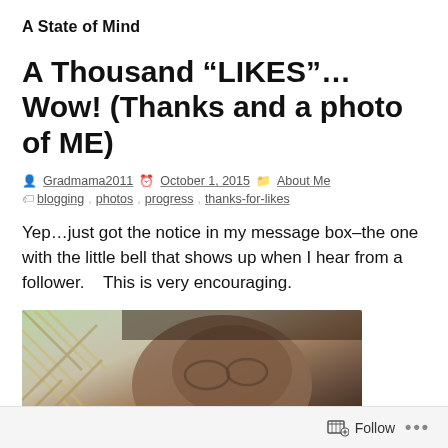A State of Mind
A Thousand “LIKES”…Wow! (Thanks and a photo of ME)
Gradmama2011  October 1, 2015  About Me  blogging, photos, progress, thanks-for-likes
Yep…just got the notice in my message box–the one with the little bell that shows up when I hear from a follower.    This is very encouraging.
[Figure (photo): Partial close-up photo of a person's face with a lattice fence and greenery visible in the background.]
Follow